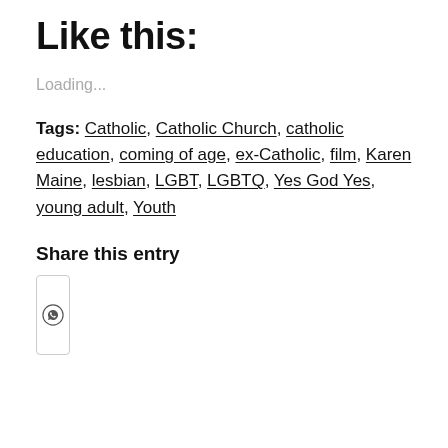Like this:
Loading...
Tags: Catholic, Catholic Church, catholic education, coming of age, ex-Catholic, film, Karen Maine, lesbian, LGBT, LGBTQ, Yes God Yes, young adult, Youth
Share this entry
[Figure (logo): WhatsApp share icon button in a rounded rectangle border]